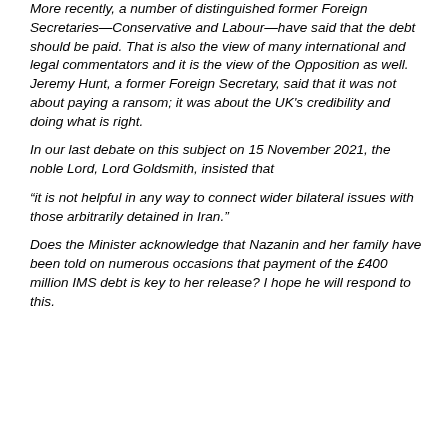More recently, a number of distinguished former Foreign Secretaries—Conservative and Labour—have said that the debt should be paid. That is also the view of many international and legal commentators and it is the view of the Opposition as well. Jeremy Hunt, a former Foreign Secretary, said that it was not about paying a ransom; it was about the UK's credibility and doing what is right.
In our last debate on this subject on 15 November 2021, the noble Lord, Lord Goldsmith, insisted that
“it is not helpful in any way to connect wider bilateral issues with those arbitrarily detained in Iran.”
Does the Minister acknowledge that Nazanin and her family have been told on numerous occasions that payment of the £400 million IMS debt is key to her release? I hope he will respond to this.